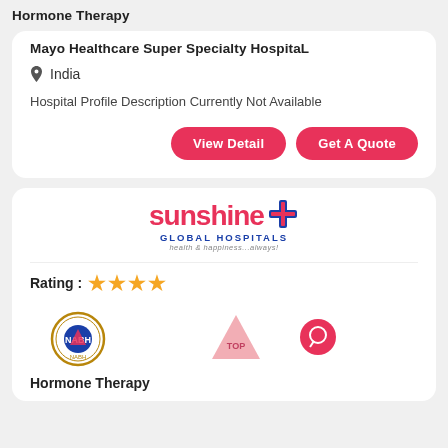Hormone Therapy
Mayo Healthcare Super Specialty HospitaL
India
Hospital Profile Description Currently Not Available
View Detail
Get A Quote
[Figure (logo): Sunshine Global Hospitals logo with red cross icon and tagline 'health & happiness...always!']
Rating : ★★★★
[Figure (logo): NABH accreditation circular seal logo]
[Figure (illustration): Pink triangle with TOP text — scroll-to-top button]
[Figure (illustration): Red circular chat/support bubble button]
Hormone Therapy